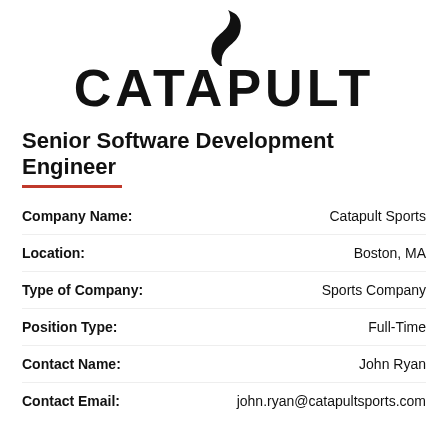[Figure (logo): Catapult Sports logo: stylized 'S' swoosh icon above the bold word CATAPULT]
Senior Software Development Engineer
| Field | Value |
| --- | --- |
| Company Name: | Catapult Sports |
| Location: | Boston, MA |
| Type of Company: | Sports Company |
| Position Type: | Full-Time |
| Contact Name: | John Ryan |
| Contact Email: | john.ryan@catapultsports.com |